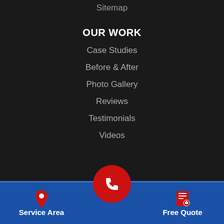Sitemap
OUR WORK
Case Studies
Before & After
Photo Gallery
Reviews
Testimonials
Videos
[Figure (infographic): Social media icons: Facebook, Twitter, Instagram, Google, YouTube, Google, Google, LinkedIn]
Service Area | [phone button] | Free Quote